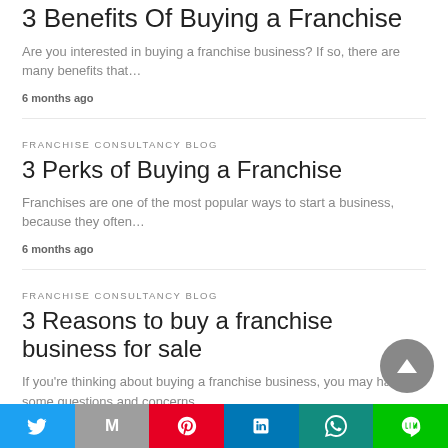3 Benefits Of Buying a Franchise
Are you interested in buying a franchise business? If so, there are many benefits that…
6 months ago
FRANCHISE CONSULTANCY BLOG
3 Perks of Buying a Franchise
Franchises are one of the most popular ways to start a business, because they often…
6 months ago
FRANCHISE CONSULTANCY BLOG
3 Reasons to buy a franchise business for sale
If you're thinking about buying a franchise business, you may have some questions and concerns…